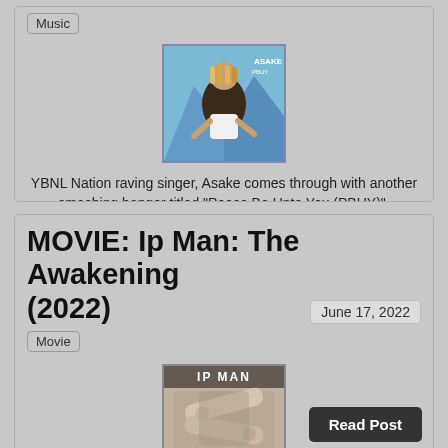Music
[Figure (photo): Album or artist thumbnail for Asake music post]
YBNL Nation raving singer, Asake comes through with another smashing banger titled “Peace Be Unto You (PBUY)”.
Read Post
MOVIE: Ip Man: The Awakening (2022)
June 17, 2022
Movie
[Figure (photo): Movie poster thumbnail for Ip Man: The Awakening (2022)]
When a young Master Ip stops a kidnapping, he ignites a turf war with a ruthless human trafficking ring. In retaliation, the gang kidnaps one of Ip Man’s close friends, forcing him to face the group’s brutal boxing champion head-on.
Read Post